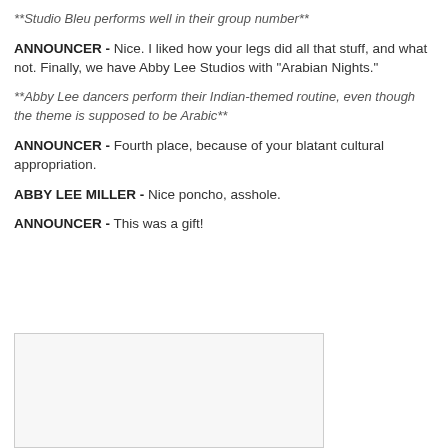**Studio Bleu performs well in their group number**
ANNOUNCER - Nice. I liked how your legs did all that stuff, and what not. Finally, we have Abby Lee Studios with "Arabian Nights."
**Abby Lee dancers perform their Indian-themed routine, even though the theme is supposed to be Arabic**
ANNOUNCER - Fourth place, because of your blatant cultural appropriation.
ABBY LEE MILLER - Nice poncho, asshole.
ANNOUNCER - This was a gift!
[Figure (other): Empty light gray box, partially visible at bottom of page]